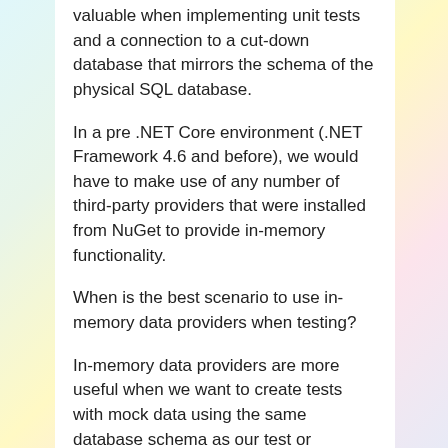valuable when implementing unit tests and a connection to a cut-down database that mirrors the schema of the physical SQL database.
In a pre .NET Core environment (.NET Framework 4.6 and before), we would have to make use of any number of third-party providers that were installed from NuGet to provide in-memory functionality.
When is the best scenario to use in-memory data providers when testing?
In-memory data providers are more useful when we want to create tests with mock data using the same database schema as our test or production databases and an ORM provider such as Entity Framework Core.